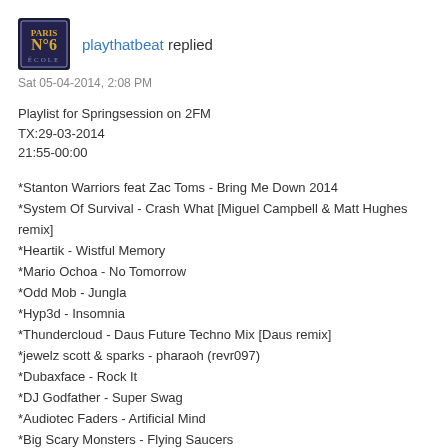playthatbeat replied
Sat 05-04-2014, 2:08 PM
Playlist for Springsession on 2FM
TX:29-03-2014
21:55-00:00
*Stanton Warriors feat Zac Toms - Bring Me Down 2014
*System Of Survival - Crash What [Miguel Campbell & Matt Hughes remix]
*Heartik - Wistful Memory
*Mario Ochoa - No Tomorrow
*Odd Mob - Jungla
*Hyp3d - Insomnia
*Thundercloud - Daus Future Techno Mix [Daus remix]
*jewelz scott & sparks - pharaoh (revr097)
*Dubaxface - Rock It
*DJ Godfather - Super Swag
*Audiotec Faders - Artificial Mind
*Big Scary Monsters - Flying Saucers
*Andy C - Workout
*Effekt - Close U Eyes
*Midnight Tyrannosaurus - Basement Bitches
*Optobot - Audium [Pio Beat remix]
*4 DA PEOPLE & MIGUEL MATOZ - Till The Morning After (Grey City GCR 79)